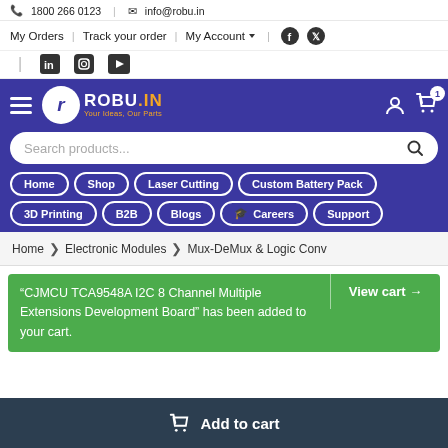1800 266 0123 | info@robu.in
My Orders | Track your order | My Account
[Figure (screenshot): Robu.in website header with logo, navigation bar, search box, and nav buttons for Home, Shop, Laser Cutting, Custom Battery Pack, 3D Printing, B2B, Blogs, Careers, Support]
Home > Electronic Modules > Mux-DeMux & Logic Conv
"CJMCU TCA9548A I2C 8 Channel Multiple Extensions Development Board" has been added to your cart.
View cart →
Add to cart